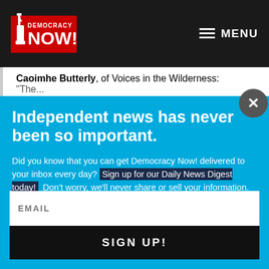Democracy Now! — MENU
Caoimhe Butterly, of Voices in the Wilderness: "The...
Independent news has never been so important.
Did you know that you can get Democracy Now! delivered to your inbox every day? Sign up for our Daily News Digest today! Don't worry, we'll never share or sell your information.
EMAIL
SIGN UP!